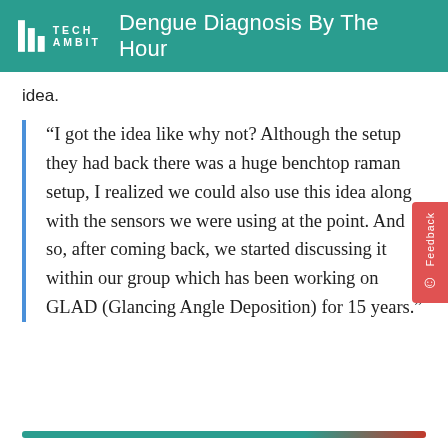Dengue Diagnosis By The Hour
idea.
“I got the idea like why not? Although the setup they had back there was a huge benchtop raman setup, I realized we could also use this idea along with the sensors we were using at the point. And so, after coming back, we started discussing it within our group which has been working on GLAD (Glancing Angle Deposition) for 15 years.”